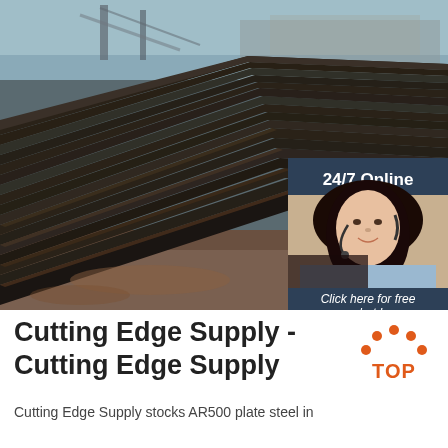[Figure (photo): Photo of stacked dark steel/metal plates viewed at an angle on an outdoor industrial site, with a chat widget overlay on the right showing '24/7 Online', a woman with headset, 'Click here for free chat!' text, and an orange QUOTATION button]
Cutting Edge Supply - Cutting Edge Supply
[Figure (logo): Orange 'TOP' logo with orange dots arranged in an arch above the text TOP]
Cutting Edge Supply stocks AR500 plate steel in